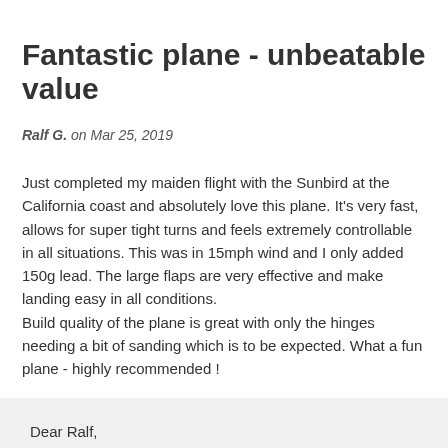Fantastic plane - unbeatable value
Ralf G. on Mar 25, 2019
Just completed my maiden flight with the Sunbird at the California coast and absolutely love this plane. It's very fast, allows for super tight turns and feels extremely controllable in all situations. This was in 15mph wind and I only added 150g lead. The large flaps are very effective and make landing easy in all conditions.
Build quality of the plane is great with only the hinges needing a bit of sanding which is to be expected. What a fun plane - highly recommended !
Dear Ralf,

Thank you very much for your comments.

It's very grateful to know your impressions about the Sunbird, glad that you love it!

We are very appreciated with your opinion!